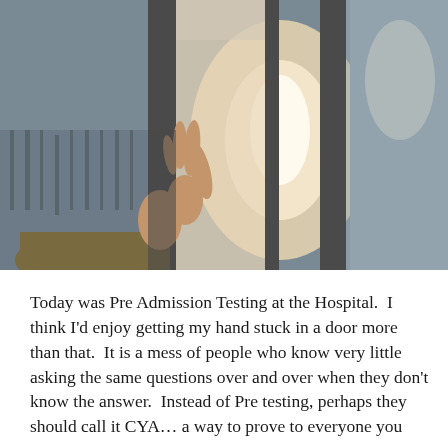[Figure (photo): A hand with arm in an olive/brown sleeve appearing to be stuck or pressing between two vertical door frame elements, with light visible through the gap. Sky and trees visible in the background.]
Today was Pre Admission Testing at the Hospital.  I think I'd enjoy getting my hand stuck in a door more than that.  It is a mess of people who know very little asking the same questions over and over when they don't know the answer.  Instead of Pre testing, perhaps they should call it CYA… a way to prove to everyone you